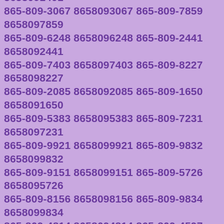865-809-8179 8658098179 865-809-7436 8658097436 865-809-8794 8658098794 865-809-6442 8658096442 865-809-4080 8658094080 865-809-0575 8658090575 865-809-5248 8658095248 865-809-5283 8658095283 865-809-2937 8658092937 865-809-8461 8658098461 865-809-3974 8658093974 865-809-1401 8658091401 865-809-3067 8658093067 865-809-7859 8658097859 865-809-6248 8658096248 865-809-2441 8658092441 865-809-7403 8658097403 865-809-8227 8658098227 865-809-2085 8658092085 865-809-1650 8658091650 865-809-5383 8658095383 865-809-7231 8658097231 865-809-9921 8658099921 865-809-9832 8658099832 865-809-9151 8658099151 865-809-5726 8658095726 865-809-8156 8658098156 865-809-9834 8658099834 865-809-4814 8658094814 865-809-4597 8658094597 865-809-7328 8658097328 865-809-1798 8658091798 865-809-3102 8658093102 865-809-7289 8658097289 865-809-5966 8658095966 865-809-3571 8658093571 865-809-2684 8658092684 865-809-9395 8658099395 865-809-5719 8658095719 865-809-9880 8658099880